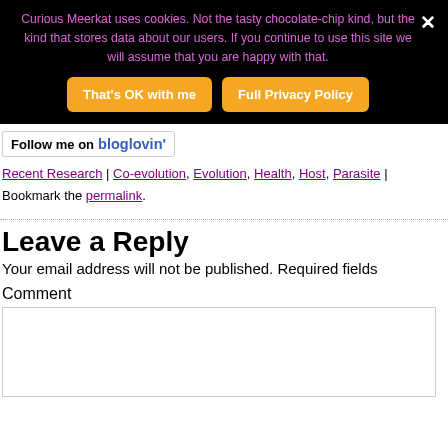Curious Meerkat uses cookies. Not the tasty chocolate-chip kind, but the kind that stores data about our users. If you continue to use this site we will assume that you are happy with that.
That's OK with me
Full Privacy Policy
[Figure (logo): Follow me on bloglovin' badge]
Recent Research | Co-evolution, Evolution, Health, Host, Parasite | Bookmark the permalink.
Leave a Reply
Your email address will not be published. Required fields
Comment